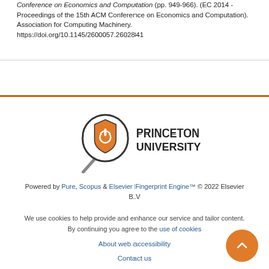Conference on Economics and Computation (pp. 949-966). (EC 2014 - Proceedings of the 15th ACM Conference on Economics and Computation). Association for Computing Machinery. https://doi.org/10.1145/2600057.2602841
[Figure (logo): Princeton University logo with magnifying glass icon and shield emblem]
Powered by Pure, Scopus & Elsevier Fingerprint Engine™ © 2022 Elsevier B.V
We use cookies to help provide and enhance our service and tailor content. By continuing you agree to the use of cookies
About web accessibility
Contact us